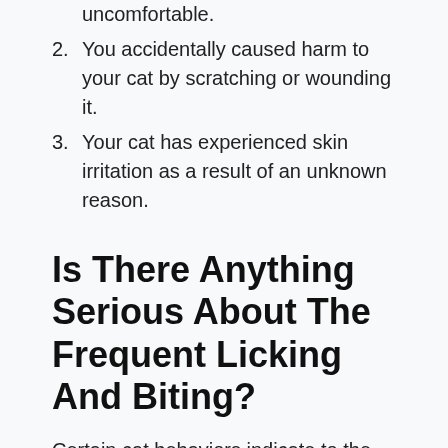uncomfortable.
2. You accidentally caused harm to your cat by scratching or wounding it.
3. Your cat has experienced skin irritation as a result of an unknown reason.
Is There Anything Serious About The Frequent Licking And Biting?
Certain cat behaviors indicate to the owner that the cat is experiencing discomfort or suffering. For example, if your cat displays signs of distress when you pet a particular area of its body, you should check for wounds or bite marks on that